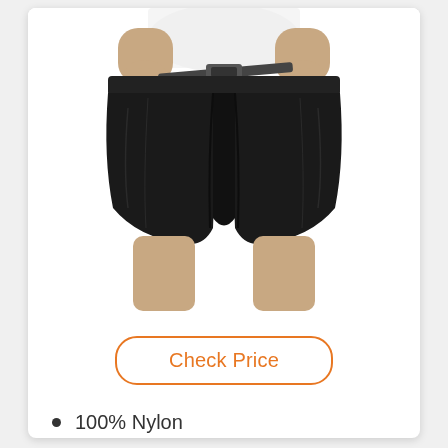[Figure (photo): A person wearing black shorts with a belt buckle being adjusted. The shorts are dark/black nylon shorts reaching above the knee. The model is wearing a white shirt. Upper torso and hands are visible adjusting the belt.]
Check Price
100% Nylon